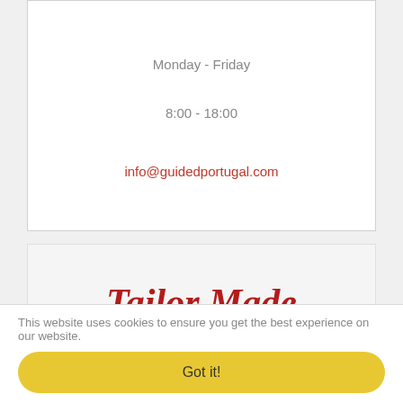Monday - Friday
8:00 - 18:00
info@guidedportugal.com
Tailor Made
Like what you see but it's not quite this?
know more
This website uses cookies to ensure you get the best experience on our website.
Got it!